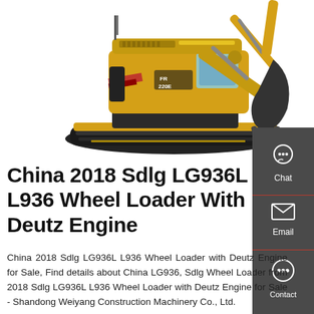[Figure (photo): Yellow construction excavator (FR 220E) with black tracks on white background, with a close-up of the excavator bucket arm visible on the right side.]
China 2018 Sdlg LG936L L936 Wheel Loader With Deutz Engine
China 2018 Sdlg LG936L L936 Wheel Loader with Deutz Engine for Sale, Find details about China LG936, Sdlg Wheel Loader from 2018 Sdlg LG936L L936 Wheel Loader with Deutz Engine for Sale - Shandong Weiyang Construction Machinery Co., Ltd.